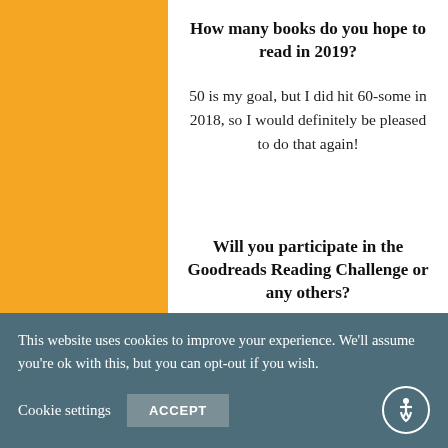How many books do you hope to read in 2019?
50 is my goal, but I did hit 60-some in 2018, so I would definitely be pleased to do that again!
Will you participate in the Goodreads Reading Challenge or any others?
Yes! That 50 books I'd like to read is my
This website uses cookies to improve your experience. We'll assume you're ok with this, but you can opt-out if you wish.
Cookie settings   ACCEPT